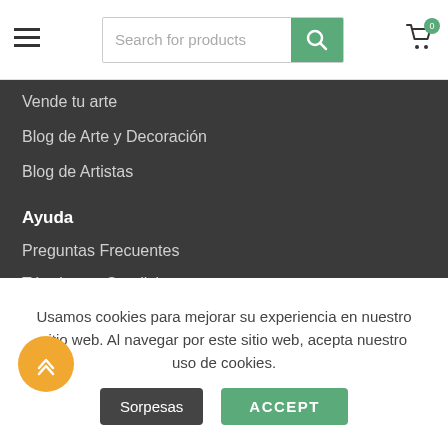[Figure (screenshot): Website header with hamburger menu, search bar with green search button, and shopping cart icon with 0 badge]
Vende tu arte
Blog de Arte y Decoración
Blog de Artistas
Ayuda
Preguntas Frecuentes
Términos y Condiciones
Devoluciones
Aviso de Privacidad
Centro de Soporte a Artistas
Contáctanos
Usamos cookies para mejorar su experiencia en nuestro sitio web. Al navegar por este sitio web, acepta nuestro uso de cookies.